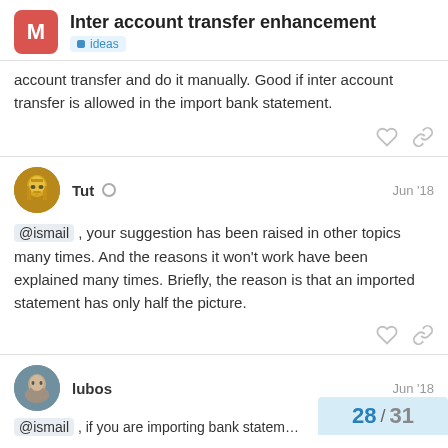Inter account transfer enhancement — ideas
account transfer and do it manually. Good if inter account transfer is allowed in the import bank statement.
Tut  Jun '18
@ismail , your suggestion has been raised in other topics many times. And the reasons it won't work have been explained many times. Briefly, the reason is that an imported statement has only half the picture.
lubos  Jun '18
@ismail , if you are importing bank statem…
28 / 31